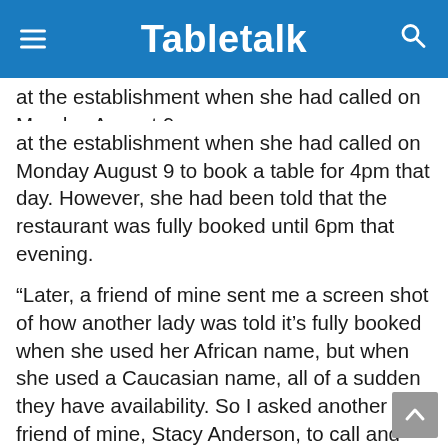Tabletalk
at the establishment when she had called on Monday August 9 to book a table for 4pm that day. However, she had been told that the restaurant was fully booked until 6pm that evening.
“Later, a friend of mine sent me a screen shot of how another lady was told it’s fully booked when she used her African name, but when she used a Caucasian name, all of a sudden they have availability. So I asked another friend of mine, Stacy Anderson, to call and make a booking for 4.30pm. Stacy got the 4.30pm reservation,” she told Tabletalk.
Ms Feni said that she and her friends had been treated badly at the restaurant and had had to wait a long time to be served.
“After not being served, we got up, not even hastily, hoping